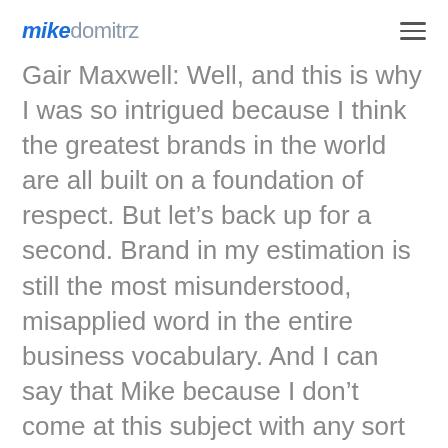mikedomitrz
Gair Maxwell: Well, and this is why I was so intrigued because I think the greatest brands in the world are all built on a foundation of respect. But let’s back up for a second. Brand in my estimation is still the most misunderstood, misapplied word in the entire business vocabulary. And I can say that Mike because I don’t come at this subject with any sort of “official” marketing background. I was a broadcast